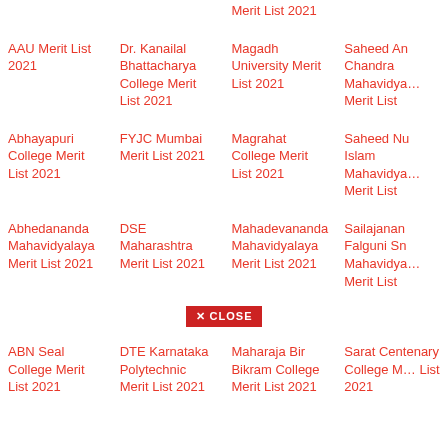Merit List 2021
Merit List 2021
AAU Merit List 2021
Dr. Kanailal Bhattacharya College Merit List 2021
Magadh University Merit List 2021
Saheed Anurudha Chandra Mahavidyalaya Merit List
Abhayapuri College Merit List 2021
FYJC Mumbai Merit List 2021
Magrahat College Merit List 2021
Saheed Nurul Islam Mahavidyalaya Merit List
Abhedananda Mahavidyalaya Merit List 2021
DSE Maharashtra Merit List 2021
Mahadevananda Mahavidyalaya Merit List 2021
Sailajananda Falguni Smriti Mahavidyalaya Merit List
ABN Seal College Merit List 2021
DTE Karnataka Polytechnic Merit List 2021
Maharaja Bir Bikram College Merit List 2021
Sarat Centenary College Merit List 2021